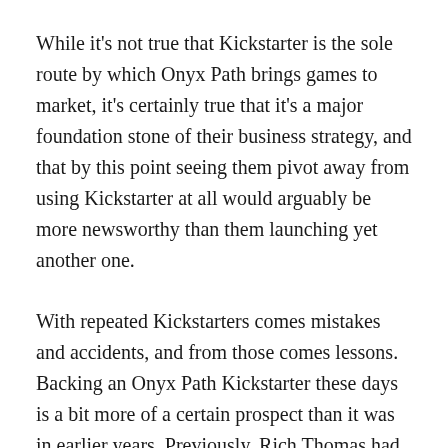While it's not true that Kickstarter is the sole route by which Onyx Path brings games to market, it's certainly true that it's a major foundation stone of their business strategy, and that by this point seeing them pivot away from using Kickstarter at all would arguably be more newsworthy than them launching yet another one.
With repeated Kickstarters comes mistakes and accidents, and from those comes lessons. Backing an Onyx Path Kickstarter these days is a bit more of a certain prospect than it was in earlier years. Previously, Rich Thomas had followed his creators-first instincts by allowing project managers to largely structure their Kickstarters as they chose, which led to some wild variations in results. Some books came to Kickstarter